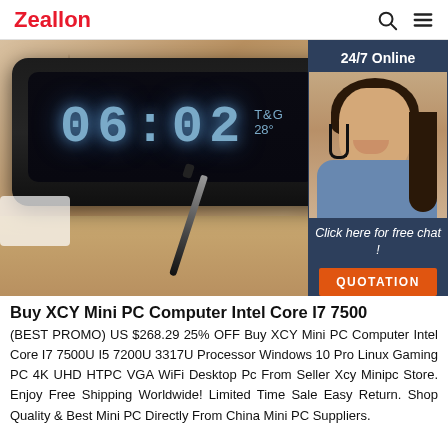Zeallon
[Figure (photo): Product photo of XCY Mini PC with digital clock showing 06:02, Eiffel Tower figurine in background, pen on desk. Overlaid chat widget with '24/7 Online' text, woman with headset, 'Click here for free chat!' and orange QUOTATION button.]
Buy XCY Mini PC Computer Intel Core I7 7500
(BEST PROMO) US $268.29 25% OFF Buy XCY Mini PC Computer Intel Core I7 7500U I5 7200U 3317U Processor Windows 10 Pro Linux Gaming PC 4K UHD HTPC VGA WiFi Desktop Pc From Seller Xcy Minipc Store. Enjoy Free Shipping Worldwide! Limited Time Sale Easy Return. Shop Quality & Best Mini PC Directly From China Mini PC Suppliers.